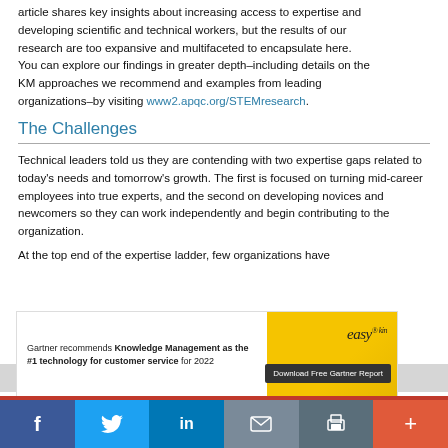article shares key insights about increasing access to expertise and developing scientific and technical workers, but the results of our research are too expansive and multifaceted to encapsulate here. You can explore our findings in greater depth–including details on the KM approaches we recommend and examples from leading organizations–by visiting www2.apqc.org/STEMresearch.
[Figure (other): Hamburger menu icon (three white horizontal bars on dark teal background)]
The Challenges
Technical leaders told us they are contending with two expertise gaps related to today's needs and tomorrow's growth. The first is focused on turning mid-career employees into true experts, and the second on developing novices and newcomers so they can work independently and begin contributing to the organization.
At the top end of the expertise ladder, few organizations have
[Figure (other): Advertisement banner: Gartner recommends Knowledge Management as the #1 technology for customer service for 2022 — easyknowledge logo — Download Free Gartner Report button]
f  Twitter  in  Email  Print  +